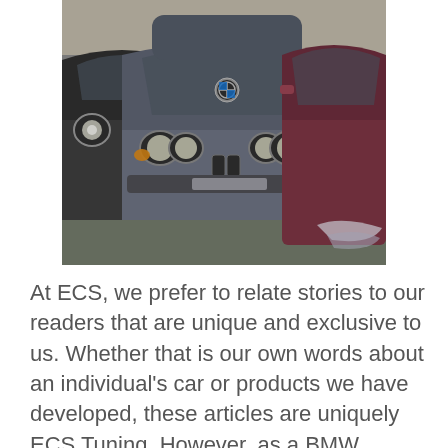[Figure (photo): Three dusty BMW E34 5-series sedans parked in a dim garage or barn. The center car is a dark blue/gray BMW facing forward showing its quad headlights, kidney grille, and BMW roundel. A dark car is on the left and a maroon car on the right. Miscellaneous items including fabric on the floor. The setting appears to be a barn find scenario.]
At ECS, we prefer to relate stories to our readers that are unique and exclusive to us. Whether that is our own words about an individual's car or products we have developed, these articles are uniquely ECS Tuning. However, as a BMW enthusiast and fan of the elusive barn find, I couldn't pass